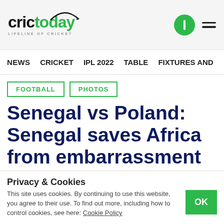crictoday LIFELINE OF CRICKET
NEWS   CRICKET   IPL 2022   TABLE   FIXTURES AND
FOOTBALL
PHOTOS
Senegal vs Poland: Senegal saves Africa from embarrassment
by AP
June 21, 2018
Privacy & Cookies
This site uses cookies. By continuing to use this website, you agree to their use. To find out more, including how to control cookies, see here: Cookie Policy